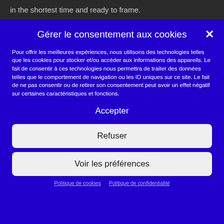in the shortest time and ready to frame.
Gérer le consentement aux cookies
Pour offrir les meilleures expériences, nous utilisons des technologies telles que les cookies pour stocker et/ou accéder aux informations des appareils. Le fait de consentir à ces technologies nous permettra de traiter des données telles que le comportement de navigation ou les ID uniques sur ce site. Le fait de ne pas consentir ou de retirer son consentement peut avoir un effet négatif sur certaines caractéristiques et fonctions.
Accepter
Refuser
Voir les préférences
Politique de cookies  Politique de confidentialité